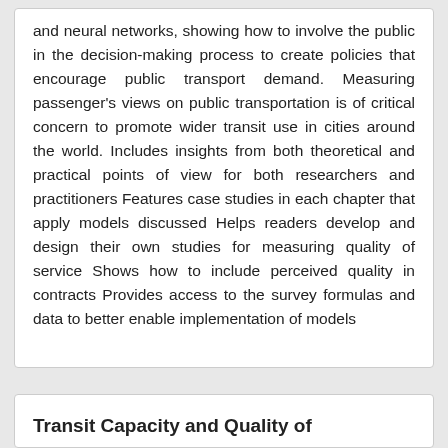and neural networks, showing how to involve the public in the decision-making process to create policies that encourage public transport demand. Measuring passenger's views on public transportation is of critical concern to promote wider transit use in cities around the world. Includes insights from both theoretical and practical points of view for both researchers and practitioners Features case studies in each chapter that apply models discussed Helps readers develop and design their own studies for measuring quality of service Shows how to include perceived quality in contracts Provides access to the survey formulas and data to better enable implementation of models
Transit Capacity and Quality of